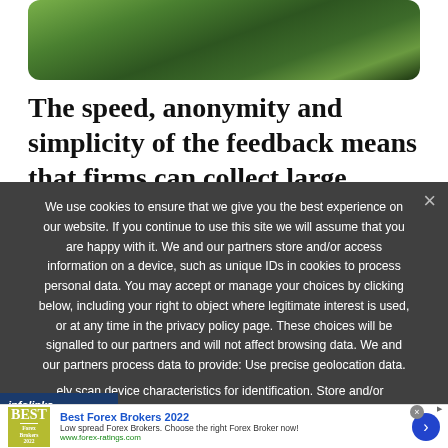[Figure (photo): Green blurred background photo strip at top of page, appears to be nature/grass imagery]
The speed, anonymity and simplicity of the feedback means that firms can collect large
We use cookies to ensure that we give you the best experience on our website. If you continue to use this site we will assume that you are happy with it. We and our partners store and/or access information on a device, such as unique IDs in cookies to process personal data. You may accept or manage your choices by clicking below, including your right to object where legitimate interest is used, or at any time in the privacy policy page. These choices will be signalled to our partners and will not affect browsing data. We and our partners process data to provide: Use precise geolocation data. ely scan device characteristics for identification. Store and/or
[Figure (infographic): Advertisement banner for Best Forex Brokers 2022 from forex-ratings.com with yellow/green logo, blue arrow button]